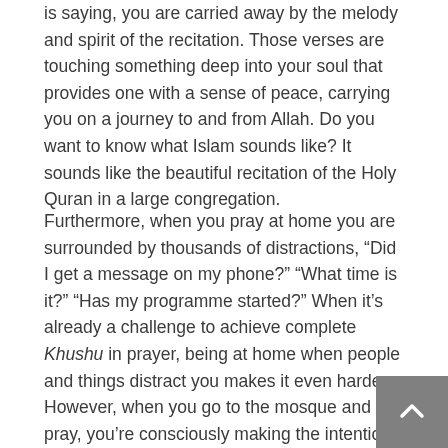is saying, you are carried away by the melody and spirit of the recitation. Those verses are touching something deep into your soul that provides one with a sense of peace, carrying you on a journey to and from Allah. Do you want to know what Islam sounds like? It sounds like the beautiful recitation of the Holy Quran in a large congregation.
Furthermore, when you pray at home you are surrounded by thousands of distractions, “Did I get a message on my phone?” “What time is it?” “Has my programme started?” When it’s already a challenge to achieve complete Khushu in prayer, being at home when people and things distract you makes it even harder. However, when you go to the mosque and pray, you’re consciously making the intention to worship Allah and Allah only, not your thousands of distractions (which you’ve left behind hence they are insignificant). With every step towards the Masjid, you take around a hundred steps closer to Allah and a hundred steps away from the material world. So the huge increase in Khushu is extremely beautiful to the heart because when you have delved